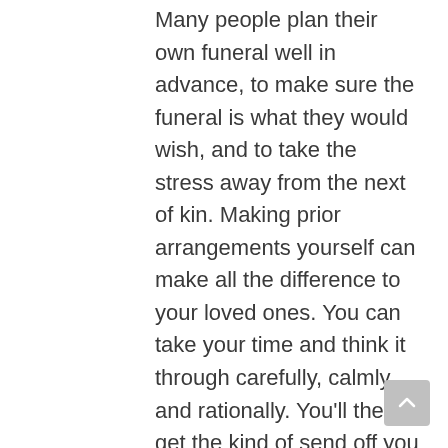Many people plan their own funeral well in advance, to make sure the funeral is what they would wish, and to take the stress away from the next of kin. Making prior arrangements yourself can make all the difference to your loved ones. You can take your time and think it through carefully, calmly and rationally. You'll then get the kind of send off you really want. All you have to do is sit down with a member of our staff and discuss all your individual requirements, so that the plan can be made to suit your wishes and budget. Arrangements can be made in the comfort of your own home, or at our funeral home. Every aspect of the arrangements can be planned to suit you and the type of service you want, down to